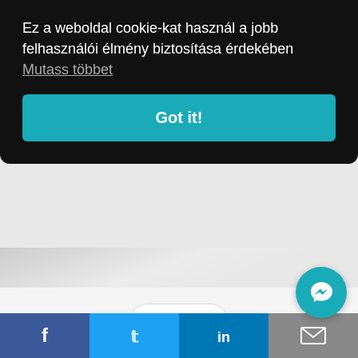Ez a weboldal cookie-kat használ a jobb felhasználói élmény biztosítása érdekében Mutass többet
Got it!
Back
Outstream Video Ads | Advantages and Disadvantages
[Figure (screenshot): Social sharing bar at bottom with Facebook, Twitter, LinkedIn, and email icons, plus a teal Messenger floating action button]